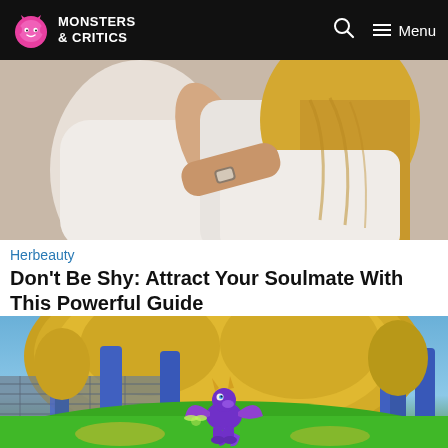Monsters & Critics — Menu
[Figure (photo): Two people hugging closely, woman with long blonde hair wearing a watch, both in white t-shirts]
Herbeauty
Don't Be Shy: Attract Your Soulmate With This Powerful Guide
[Figure (screenshot): Spyro the Dragon video game screenshot showing purple dragon character in a green meadow with golden trees and blue columns in background]